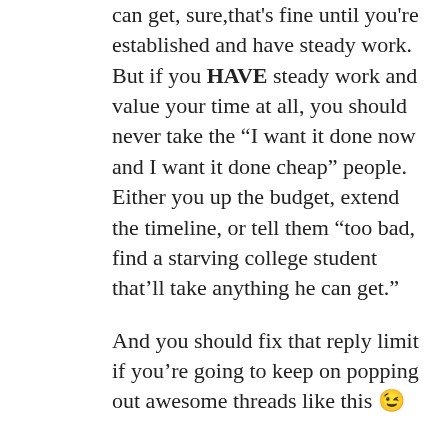can get, sure,that's fine until you're established and have steady work. But if you HAVE steady work and value your time at all, you should never take the “I want it done now and I want it done cheap” people. Either you up the budget, extend the timeline, or tell them “too bad, find a starving college student that’ll take anything he can get.”
And you should fix that reply limit if you’re going to keep on popping out awesome threads like this 😉